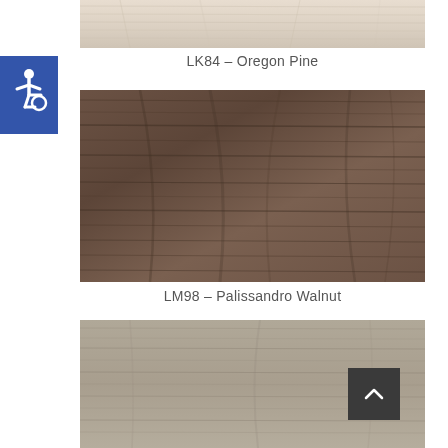[Figure (illustration): Oregon Pine wood grain texture swatch, light beige/cream color, partially cropped at top]
LK84 – Oregon Pine
[Figure (illustration): Accessibility icon — white wheelchair symbol on blue square background]
[Figure (illustration): Palissandro Walnut wood grain texture swatch, medium dark brown color]
LM98 – Palissandro Walnut
[Figure (illustration): Third wood grain texture swatch, grayish-taupe color, partially cropped at bottom]